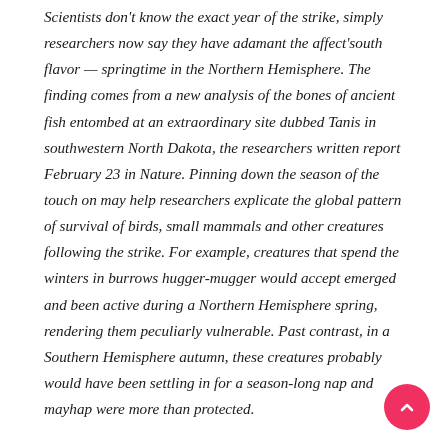Scientists don't know the exact year of the strike, simply researchers now say they have adamant the affect'south flavor — springtime in the Northern Hemisphere. The finding comes from a new analysis of the bones of ancient fish entombed at an extraordinary site dubbed Tanis in southwestern North Dakota, the researchers written report February 23 in Nature. Pinning down the season of the touch on may help researchers explicate the global pattern of survival of birds, small mammals and other creatures following the strike. For example, creatures that spend the winters in burrows hugger-mugger would accept emerged and been active during a Northern Hemisphere spring, rendering them peculiarly vulnerable. Past contrast, in a Southern Hemisphere autumn, these creatures probably would have been settling in for a season-long nap and mayhap were more than protected.